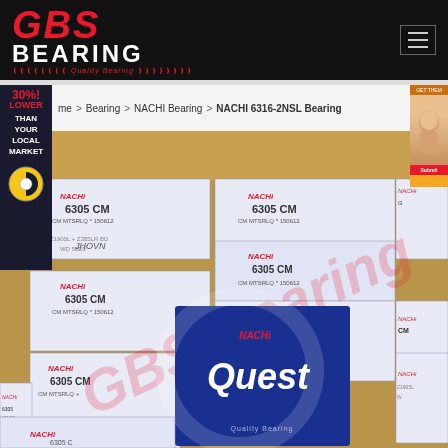[Figure (logo): GBS Bearing logo with red italic GBS text, white BEARING text, and red Quality Bearing tagline on black background]
me > Bearing > NACHI Bearing > NACHI 6316-2NSL Bearing
30%! LOWER THAN YOUR LOCAL MARKET
[Figure (photo): Multiple NACHI 6305 CM bearing boxes arranged in rows on a cardboard surface, with a NACHI Quest branded box in the foreground center. A red watermark reading GBS Bearing overlays the image.]